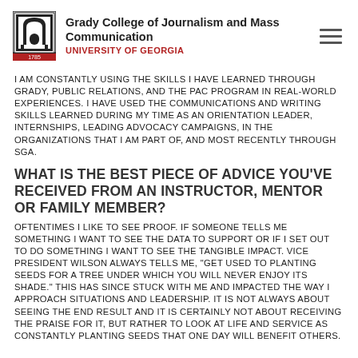Grady College of Journalism and Mass Communication UNIVERSITY OF GEORGIA
I AM CONSTANTLY USING THE SKILLS I HAVE LEARNED THROUGH GRADY, PUBLIC RELATIONS, AND THE PAC PROGRAM IN REAL-WORLD EXPERIENCES. I HAVE USED THE COMMUNICATIONS AND WRITING SKILLS LEARNED DURING MY TIME AS AN ORIENTATION LEADER, INTERNSHIPS, LEADING ADVOCACY CAMPAIGNS, IN THE ORGANIZATIONS THAT I AM PART OF, AND MOST RECENTLY THROUGH SGA.
WHAT IS THE BEST PIECE OF ADVICE YOU'VE RECEIVED FROM AN INSTRUCTOR, MENTOR OR FAMILY MEMBER?
OFTENTIMES I LIKE TO SEE PROOF. IF SOMEONE TELLS ME SOMETHING I WANT TO SEE THE DATA TO SUPPORT OR IF I SET OUT TO DO SOMETHING I WANT TO SEE THE TANGIBLE IMPACT. VICE PRESIDENT WILSON ALWAYS TELLS ME, "GET USED TO PLANTING SEEDS FOR A TREE UNDER WHICH YOU WILL NEVER ENJOY ITS SHADE." THIS HAS SINCE STUCK WITH ME AND IMPACTED THE WAY I APPROACH SITUATIONS AND LEADERSHIP. IT IS NOT ALWAYS ABOUT SEEING THE END RESULT AND IT IS CERTAINLY NOT ABOUT RECEIVING THE PRAISE FOR IT, BUT RATHER TO LOOK AT LIFE AND SERVICE AS CONSTANTLY PLANTING SEEDS THAT ONE DAY WILL BENEFIT OTHERS.